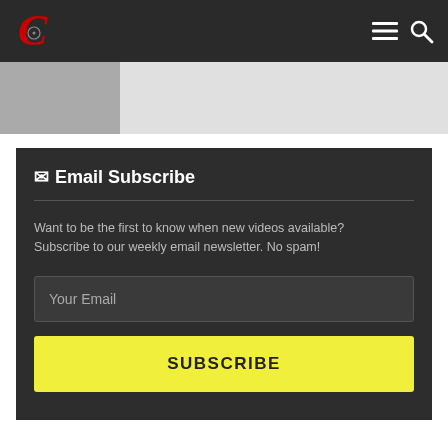Navigation bar with logo and menu/search icons
[Figure (other): Gray image placeholder strip at top of content area]
✉ Email Subscribe
Want to be the first to know when new videos available? Subscribe to our weekly email newsletter. No spam!
Your Email
SUBSCRIBE